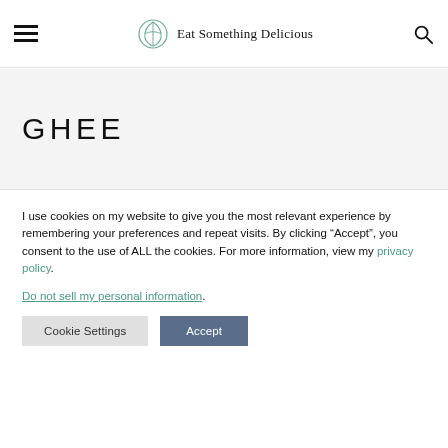Eat Something Delicious
GHEE
I use cookies on my website to give you the most relevant experience by remembering your preferences and repeat visits. By clicking “Accept”, you consent to the use of ALL the cookies. For more information, view my privacy policy.
Do not sell my personal information.
Cookie Settings | Accept